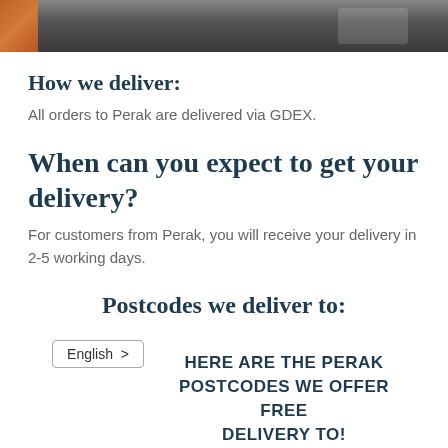[Figure (photo): A photo strip showing the top portion of delivery trucks in a warehouse/loading area with an orange and grey color palette]
How we deliver:
All orders to Perak are delivered via GDEX.
When can you expect to get your delivery?
For customers from Perak, you will receive your delivery in 2-5 working days.
Postcodes we deliver to:
HERE ARE THE PERAK POSTCODES WE OFFER FREE DELIVERY TO!